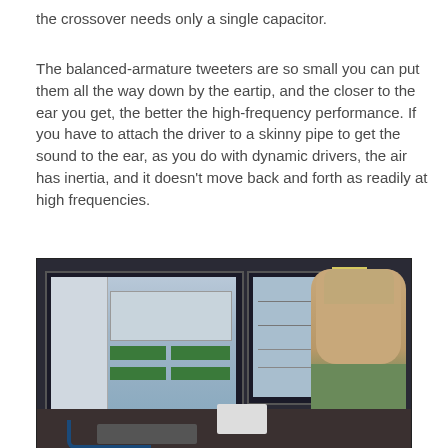the crossover needs only a single capacitor.
The balanced-armature tweeters are so small you can put them all the way down by the eartip, and the closer to the ear you get, the better the high-frequency performance. If you have to attach the driver to a skinny pipe to get the sound to the ear, as you do with dynamic drivers, the air has inertia, and it doesn't move back and forth as readily at high frequencies.
[Figure (photo): A man sitting at a desk with multiple computer monitors displaying audio engineering software, smiling at the camera. He has gray-blonde hair and is wearing a green shirt. The monitors show what appears to be audio mixing or measurement software with green meters visible.]